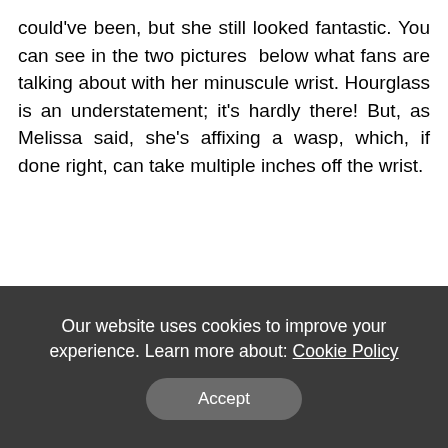could've been, but she still looked fantastic. You can see in the two pictures below what fans are talking about with her minuscule wrist. Hourglass is an understatement; it's hardly there! But, as Melissa said, she's affixing a wasp, which, if done right, can take multiple inches off the wrist.
[Figure (photo): Broken image placeholder for: Kim Kardashian West Costume Institute Benefit celebrating the opening of Camp: Notes on Fashion, Arrivals, The Metropolitan Museum of Art, New York, USA - 06 May 2019]
Kim Kardashian West Costume Institute Benefit celebrating the opening of Camp: Notes on Fashion, Arrivals, The Metropolitan Museum of Art, New York, USA - 06 May 2019
Our website uses cookies to improve your experience. Learn more about: Cookie Policy